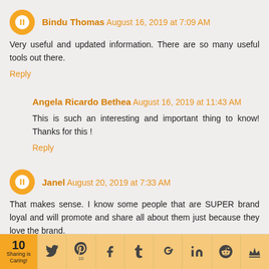Bindu Thomas August 16, 2019 at 7:09 AM
Very useful and updated information. There are so many useful tools out there.
Reply
Angela Ricardo Bethea August 16, 2019 at 11:43 AM
This is such an interesting and important thing to know! Thanks for this !
Reply
Janel August 20, 2019 at 7:33 AM
That makes sense. I know some people that are SUPER brand loyal and will promote and share all about them just because they love the brand.
Reply